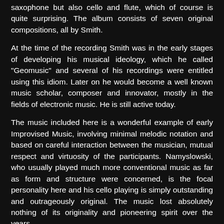saxophone but also cello and flute, which of course is quite surprising. The album consists of seven original compositions, all by Smith.
At the time of the recording Smith was in the early stages of developing his musical ideology, which he called "Geomusic" and several of his recordings were entitled using this idiom. Later on he would become a well known music scholar, composer and innovator, mostly in the fields of electronic music. He is still active today.
The music included here is a wonderful example of early Improvised Music, involving minimal melodic notation and based on careful interaction between the musician, mutual respect and virtuosity of the participants. Namyslowski, who usually played much more conventional music as far as form and structure were concerned, is the focal personality here and his cello playing is simply outstanding and outrageously original. The music lost absolutely nothing of its originality and pioneering spirit over the years.
Although Free Jazz and Improvised Music are today a